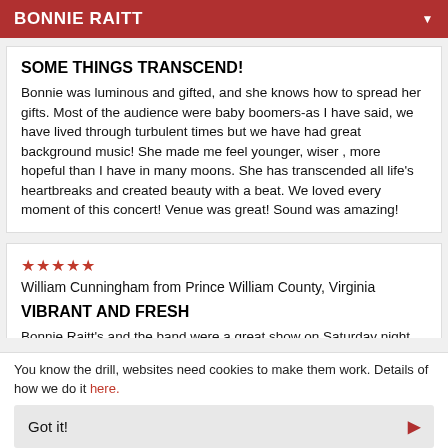BONNIE RAITT
SOME THINGS TRANSCEND!
Bonnie was luminous and gifted, and she knows how to spread her gifts. Most of the audience were baby boomers-as I have said, we have lived through turbulent times but we have had great background music! She made me feel younger, wiser , more hopeful than I have in many moons. She has transcended all life's heartbreaks and created beauty with a beat. We loved every moment of this concert! Venue was great! Sound was amazing!
★★★★★ William Cunningham from Prince William County, Virginia
VIBRANT AND FRESH
Bonnie Raitt's and the band were a great show on Saturday night
You know the drill, websites need cookies to make them work. Details of how we do it here.
Got it!